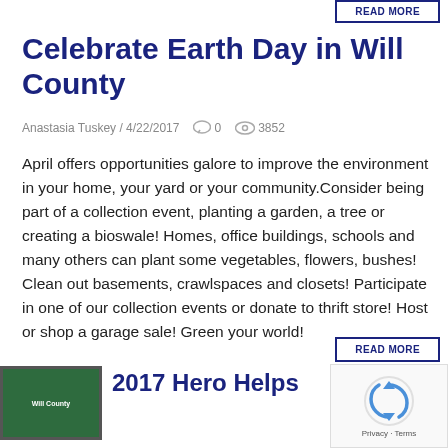READ MORE
Celebrate Earth Day in Will County
Anastasia Tuskey / 4/22/2017  0  3852
April offers opportunities galore to improve the environment in your home, your yard or your community.Consider being part of a collection event, planting a garden, a tree or creating a bioswale! Homes, office buildings, schools and many others can plant some vegetables, flowers, bushes! Clean out basements, crawlspaces and closets! Participate in one of our collection events or donate to thrift store! Host or shop a garage sale! Green your world!
READ MORE
[Figure (other): reCAPTCHA widget with spinning arrow logo, Privacy and Terms text]
[Figure (photo): Thumbnail image showing Will County text on green chalkboard background]
2017 Hero Helps